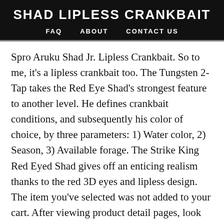SHAD LIPLESS CRANKBAIT
FAQ   ABOUT   CONTACT US
Spro Aruku Shad Jr. Lipless Crankbait. So to me, it's a lipless crankbait too. The Tungsten 2-Tap takes the Red Eye Shad's strongest feature to another level. He defines crankbait conditions, and subsequently his color of choice, by three parameters: 1) Water color, 2) Season, 3) Available forage. The Strike King Red Eyed Shad gives off an enticing realism thanks to the red 3D eyes and lipless design. The item you've selected was not added to your cart. After viewing product detail pages, look here to find an easy way to navigate back